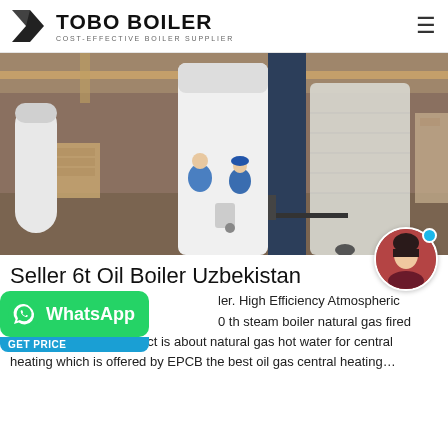TOBO BOILER — COST-EFFECTIVE BOILER SUPPLIER
[Figure (photo): Factory/warehouse photo showing industrial boilers being prepared for shipping. Two workers in blue clothing stand near a large white cylindrical boiler. A dark blue pillar is in the center. A second boiler wrapped in protective film is visible to the right on a pallet mover.]
Seller 6t Oil Boiler Uzbekistan
ler. High Efficiency Atmospheric 0 th steam boiler natural gas fired e project is about natural gas hot water for central heating which is offered by EPCB the best oil gas central heating…
[Figure (photo): WhatsApp chat button overlay (green button with WhatsApp logo and text 'WhatsApp', with a light blue sub-label below)]